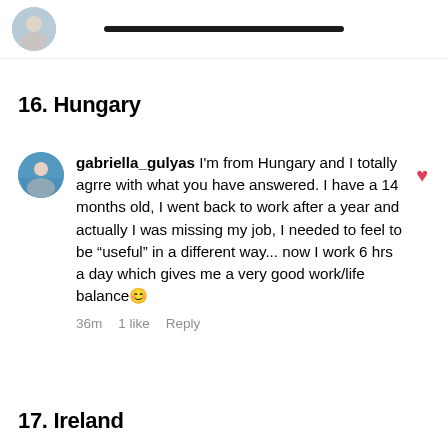[Figure (screenshot): Top partial UI bar with a circular avatar/profile image on the left and a dark horizontal search/text bar in the center, on a white background with a light bottom border.]
16. Hungary
gabriella_gulyas I'm from Hungary and I totally agrre with what you have answered. I have a 14 months old, I went back to work after a year and actually I was missing my job, I needed to feel to be "useful" in a different way... now I work 6 hrs a day which gives me a very good work/life balance 😊
36m   1 like   Reply
17. Ireland